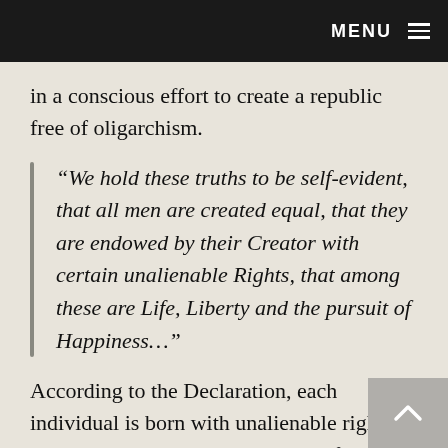MENU
in a conscious effort to create a republic free of oligarchism.
“We hold these truths to be self-evident, that all men are created equal, that they are endowed by their Creator with certain unalienable Rights, that among these are Life, Liberty and the pursuit of Happiness…”
According to the Declaration, each individual is born with unalienable rights, that is, they cannot be taken away from the individual. Crowning these unalienable rights is ‘pursuit